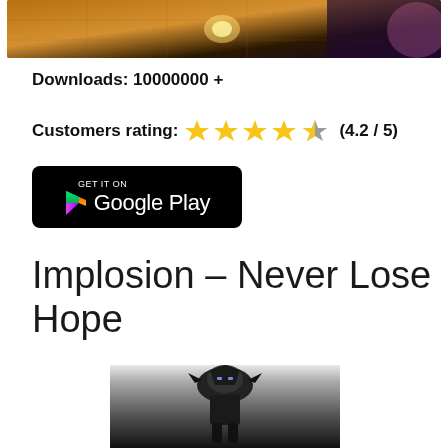[Figure (screenshot): Top portion of a game screenshot showing a dark fantasy/dungeon scene with glowing elements and grid floor]
Downloads: 10000000 +
Customers rating: ★★★★☆ (4.2 / 5)
[Figure (logo): GET IT ON Google Play button — black rounded rectangle with Play Store triangle logo and text]
Implosion – Never Lose Hope
[Figure (screenshot): Bottom portion of game screenshot showing a dark armored robot/mech character from above]